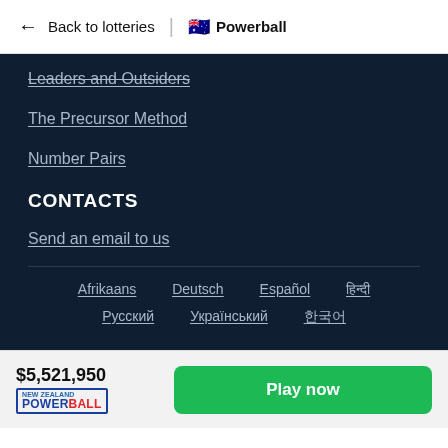← Back to lotteries | 🇦🇺 Powerball
Leaders and Outsiders
The Precursor Method
Number Pairs
CONTACTS
Send an email to us
Afrikaans   Deutsch   Español   हिन्दी   Русский   Український   한국어
$5,521,950   Play now